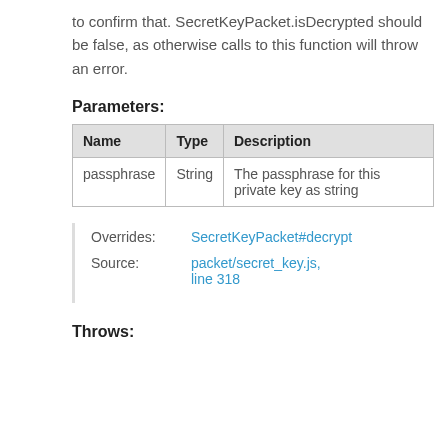to confirm that. SecretKeyPacket.isDecrypted should be false, as otherwise calls to this function will throw an error.
Parameters:
| Name | Type | Description |
| --- | --- | --- |
| passphrase | String | The passphrase for this private key as string |
Overrides: SecretKeyPacket#decrypt
Source: packet/secret_key.js, line 318
Throws: